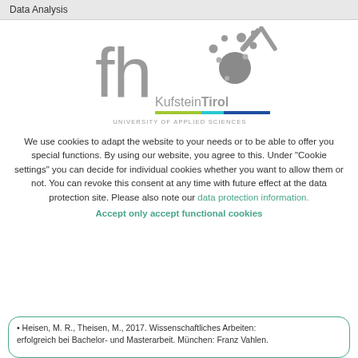Data Analysis
[Figure (logo): FH KufsteinTirol University of Applied Sciences logo with stylized 'fh' text in gray, decorative dot cluster graphic, colored bar (green, cyan, blue), and text 'KufsteinTirol UNIVERSITY OF APPLIED SCIENCES']
We use cookies to adapt the website to your needs or to be able to offer you special functions. By using our website, you agree to this. Under "Cookie settings" you can decide for individual cookies whether you want to allow them or not. You can revoke this consent at any time with future effect at the data protection site. Please also note our data protection information.
Accept only accept functional cookies
• Heisen, M. R., Theisen, M., 2017. Wissenschaftliches Arbeiten: erfolgreich bei Bachelor- und Masterarbeit. München: Franz Vahlen.